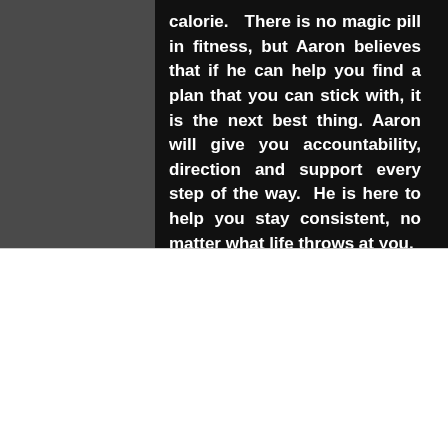calorie. There is no magic pill in fitness, but Aaron believes that if he can help you find a plan that you can stick with, it is the next best thing. Aaron will give you accountability, direction and support every step of the way. He is here to help you stay consistent, no matter what life throws at you.
We use cookies and similar technologies to enable services and functionality on our site and to understand your interaction with our service. By clicking on accept, you agree to our use of such technologies for marketing and analytics. See Privacy Policy